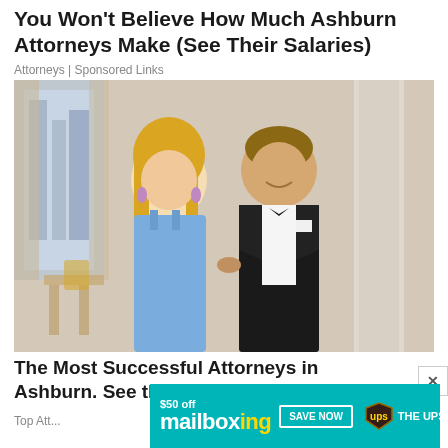You Won't Believe How Much Ashburn Attorneys Make (See Their Salaries)
Attorneys | Sponsored Links
[Figure (photo): A couple dressed formally — a blonde woman in a blue spaghetti-strap dress and a man in a black tuxedo with bow tie — posing together indoors at what appears to be a formal event.]
The Most Successful Attorneys in Ashburn. See the List
Top Att...
[Figure (infographic): Advertisement banner for mailboxing with UPS. Teal background. Shows '$50 off mailboxing SAVE NOW UPS THE UPS STORE'.]